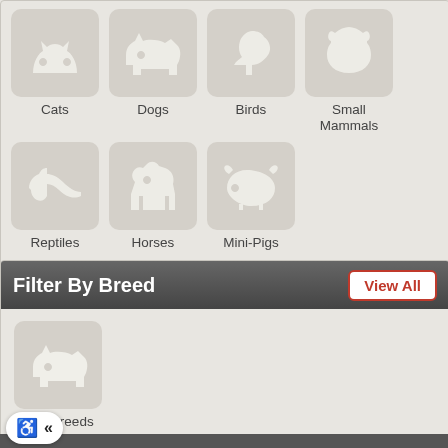[Figure (illustration): Grid of animal category icons: Cats, Dogs, Birds, Small Mammals (row 1); Reptiles, Horses, Mini-Pigs (row 2). Each icon is a white silhouette on a rounded gray square tile with label below.]
Filter By Breed
[Figure (illustration): Dog Breeds filter tile showing a white dog silhouette on a rounded gray square.]
Dog Breeds